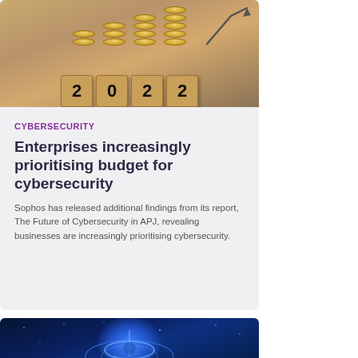[Figure (photo): Photo of coins stacked on wooden blocks spelling '2022' with an upward arrow, symbolizing financial growth in 2022]
CYBERSECURITY
Enterprises increasingly prioritising budget for cybersecurity
Sophos has released additional findings from its report, The Future of Cybersecurity in APJ, revealing businesses are increasingly prioritising cybersecurity.
[Figure (photo): Dark blue background with glowing globe/earth illustration suggesting digital cybersecurity or global connectivity]